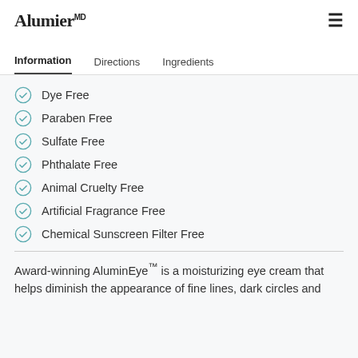AluminMD
Information  Directions  Ingredients
Dye Free
Paraben Free
Sulfate Free
Phthalate Free
Animal Cruelty Free
Artificial Fragrance Free
Chemical Sunscreen Filter Free
Award-winning AluminEye™ is a moisturizing eye cream that helps diminish the appearance of fine lines, dark circles and